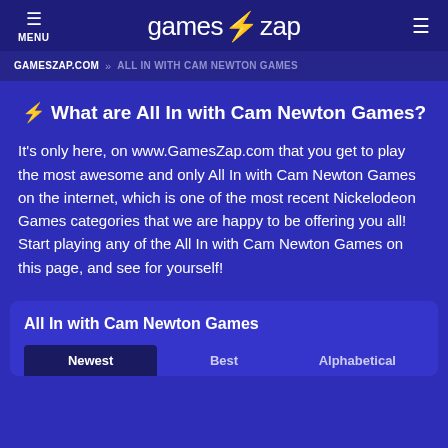☰ MENU | gameszap | ALL IN WITH CAM NEWTON GAMES
GAMESZAP.COM » ALL IN WITH CAM NEWTON GAMES
⚡ What are All In with Cam Newton Games?
It's only here, on www.GamesZap.com that you get to play the most awesome and only All In with Cam Newton Games on the internet, which is one of the most recent Nickelodeon Games categories that we are happy to be offering you all! Start playing any of the All In with Cam Newton Games on this page, and see for yourself!
All In with Cam Newton Games
Newest | Best | Alphabetical